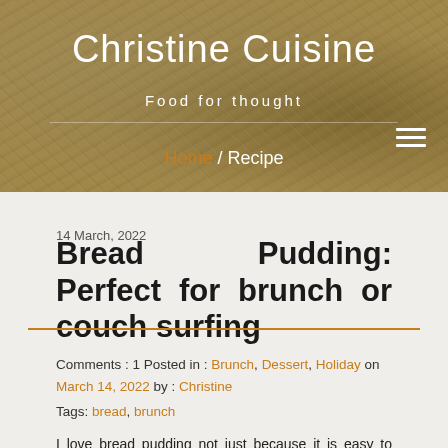Christine Cuisine — Food for thought
Home / Recipe
14 March, 2022
Bread Pudding: Perfect for brunch or couch surfing
Comments : 1 Posted in : Brunch, Dessert, Holiday on March 14, 2022 by : Christine
Tags: bread, brunch
I love bread pudding not just because it is easy to make but